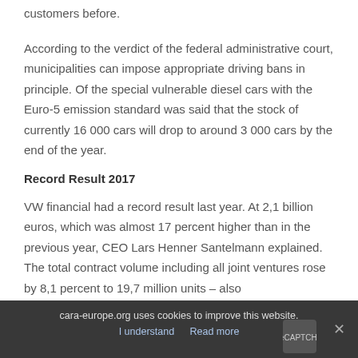customers before.
According to the verdict of the federal administrative court, municipalities can impose appropriate driving bans in principle. Of the special vulnerable diesel cars with the Euro-5 emission standard was said that the stock of currently 16 000 cars will drop to around 3 000 cars by the end of the year.
Record Result 2017
VW financial had a record result last year. At 2,1 billion euros, which was almost 17 percent higher than in the previous year, CEO Lars Henner Santelmann explained. The total contract volume including all joint ventures rose by 8,1 percent to 19,7 million units – also